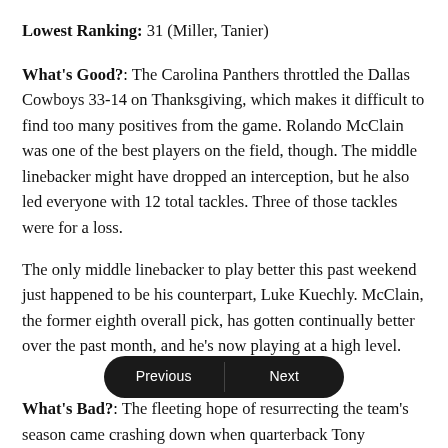Lowest Ranking: 31 (Miller, Tanier)
What's Good?: The Carolina Panthers throttled the Dallas Cowboys 33-14 on Thanksgiving, which makes it difficult to find too many positives from the game. Rolando McClain was one of the best players on the field, though. The middle linebacker might have dropped an interception, but he also led everyone with 12 total tackles. Three of those tackles were for a loss.
The only middle linebacker to play better this past weekend just happened to be his counterpart, Luke Kuechly. McClain, the former eighth overall pick, has gotten continually better over the past month, and he's now playing at a high level.
What's Bad?: The fleeting hope of resurrecting the team's season came crashing down when quarterback Tony